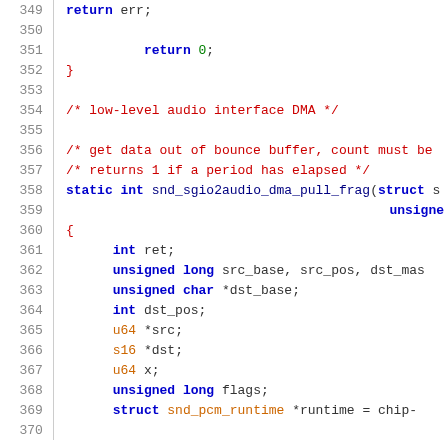Source code listing, lines 349-370, C language kernel audio driver code showing snd_sgio2audio_dma_pull_frag function definition with variable declarations.